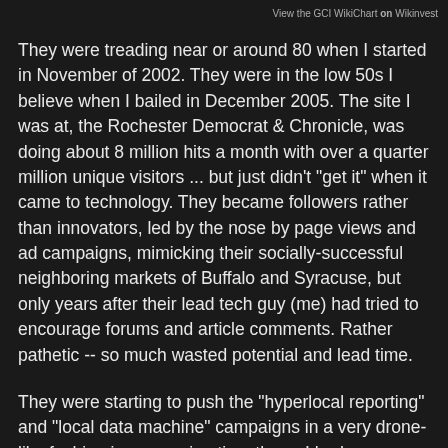View the GCI WikiChart on Wikinvest
They were treading near or around 80 when I started in November of 2002. They were in the low 50s I believe when I bailed in December 2005. The site I was at, the Rochester Democrat & Chronicle, was doing about 8 million hits a month with over a quarter million unique visitors ... but just didn't "get it" when it came to technology. They became followers rather than innovators, led by the nose by page views and ad campaigns, mimicking their socially-successful neighboring markets of Buffalo and Syracuse, but only years after their lead tech guy (me) had tried to encourage forums and article comments. Rather pathetic -- so much wasted potential and lead time.
They were starting to push the "hyperlocal reporting" and "local data machine" campaigns in a very drone-like fashion in my waning time there. I had some hope for them when they made the token effort of changing their "newsrooms" to "information centers," but unfortunately I think that corporation is too filled with stodgy, curmudgeonly